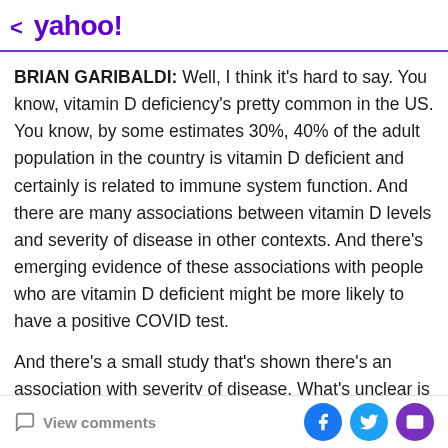< yahoo!
BRIAN GARIBALDI: Well, I think it's hard to say. You know, vitamin D deficiency's pretty common in the US. You know, by some estimates 30%, 40% of the adult population in the country is vitamin D deficient and certainly is related to immune system function. And there are many associations between vitamin D levels and severity of disease in other contexts. And there's emerging evidence of these associations with people who are vitamin D deficient might be more likely to have a positive COVID test.

And there's a small study that's shown there's an association with severity of disease. What's unclear is
View comments